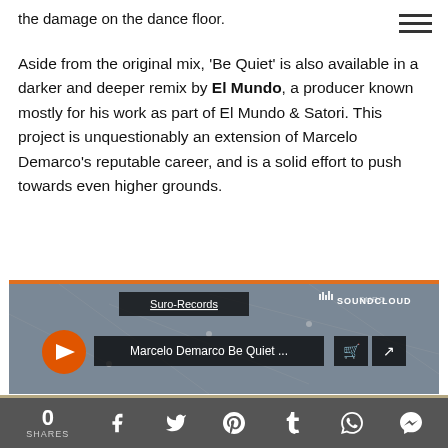the damage on the dance floor.
Aside from the original mix, 'Be Quiet' is also available in a darker and deeper remix by El Mundo, a producer known mostly for his work as part of El Mundo & Satori. This project is unquestionably an extension of Marcelo Demarco's reputable career, and is a solid effort to push towards even higher grounds.
[Figure (screenshot): SoundCloud embedded player showing 'Marcelo Demarco Be Quiet ...' by Suro-Records with orange play button and action icons]
This website uses cookies to improve your experience. We'll assume you're ok with this, but you can opt-out if you wish.
0 SHARES — social share icons: Facebook, Twitter, Pinterest, Tumblr, WhatsApp, Messenger